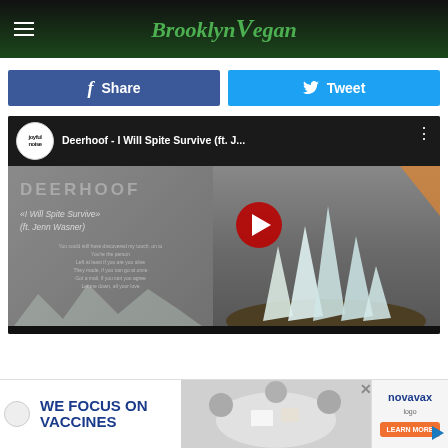BrooklynVegan
Share
Tweet
[Figure (screenshot): YouTube video embed showing Deerhoof - I Will Spite Survive (ft. J...) with Joyful Noise Recordings logo, thumbnail showing album art with DEERHOOF text and 'I Will Spite Survive (ft. Jenn Wasner)' text overlaid on a person wearing a hat with stylized mountain/tooth shapes]
[Figure (infographic): Advertisement banner: 'WE FOCUS ON VACCINES' text in blue with Novavax logo and Learn More button, with image of scientists/researchers working at a table]